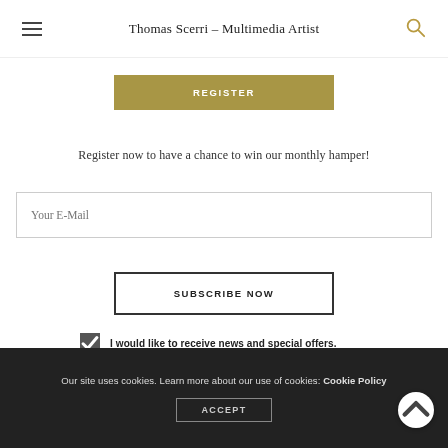Thomas Scerri – Multimedia Artist
REGISTER
Register now to have a chance to win our monthly hamper!
Your E-Mail
SUBSCRIBE NOW
I would like to receive news and special offers.
Our site uses cookies. Learn more about our use of cookies: Cookie Policy
ACCEPT